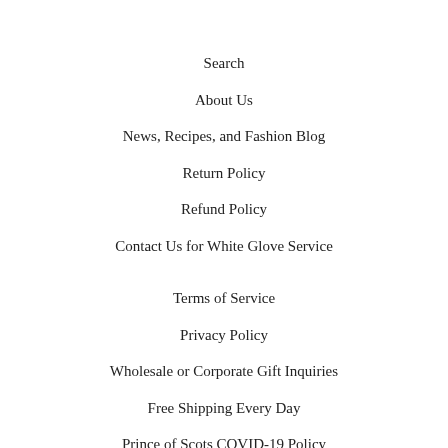Search
About Us
News, Recipes, and Fashion Blog
Return Policy
Refund Policy
Contact Us for White Glove Service
Terms of Service
Privacy Policy
Wholesale or Corporate Gift Inquiries
Free Shipping Every Day
Prince of Scots COVID-19 Policy
Facebook
Twitter